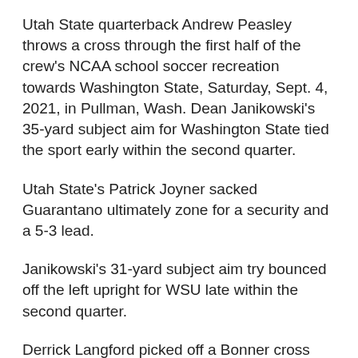Utah State quarterback Andrew Peasley throws a cross through the first half of the crew's NCAA school soccer recreation towards Washington State, Saturday, Sept. 4, 2021, in Pullman, Wash. Dean Janikowski's 35-yard subject aim for Washington State tied the sport early within the second quarter.
Utah State's Patrick Joyner sacked Guarantano ultimately zone for a security and a 5-3 lead.
Janikowski's 31-yard subject aim try bounced off the left upright for WSU late within the second quarter.
Derrick Langford picked off a Bonner cross late within the first half and returned it 36 yards to the Utah State 28. However three straight passes by de Laura have been incomplete from the Utah State 9 and the Cougars needed to accept Janikowski's 26-yard